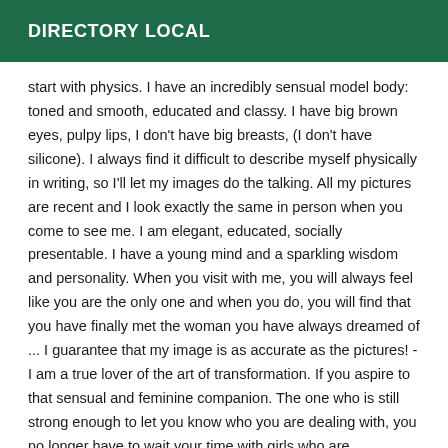DIRECTORY LOCAL
start with physics. I have an incredibly sensual model body: toned and smooth, educated and classy. I have big brown eyes, pulpy lips, I don't have big breasts, (I don't have silicone). I always find it difficult to describe myself physically in writing, so I'll let my images do the talking. All my pictures are recent and I look exactly the same in person when you come to see me. I am elegant, educated, socially presentable. I have a young mind and a sparkling wisdom and personality. When you visit with me, you will always feel like you are the only one and when you do, you will find that you have finally met the woman you have always dreamed of ... I guarantee that my image is as accurate as the pictures! - I am a true lover of the art of transformation. If you aspire to that sensual and feminine companion. The one who is still strong enough to let you know who you are dealing with, you no longer have to wait your time with girls who are